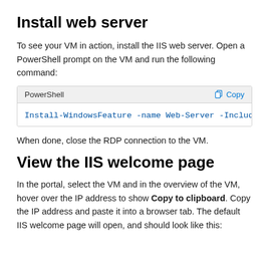Install web server
To see your VM in action, install the IIS web server. Open a PowerShell prompt on the VM and run the following command:
Install-WindowsFeature -name Web-Server -Include
When done, close the RDP connection to the VM.
View the IIS welcome page
In the portal, select the VM and in the overview of the VM, hover over the IP address to show Copy to clipboard. Copy the IP address and paste it into a browser tab. The default IIS welcome page will open, and should look like this: